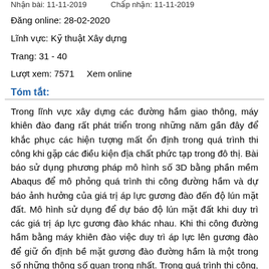Nhận bài: 11-11-2019    Chấp nhận: 11-11-2019
Đăng online: 28-02-2020
Lĩnh vực: Kỹ thuật Xây dựng
Trang: 31 - 40
Lượt xem: 7571    Xem online
Tóm tắt:
Trong lĩnh vực xây dựng các đường hầm giao thông, máy khiên đào đang rất phát triển trong những năm gần đây để khắc phục các hiện tượng mất ổn định trong quá trình thi công khi gặp các điều kiện địa chất phức tạp trong đô thị. Bài báo sử dụng phương pháp mô hình số 3D bằng phần mềm Abaqus để mô phỏng quá trình thi công đường hầm và dự báo ảnh hưởng của giá trị áp lực gương đào đến độ lún mặt đất. Mô hình sử dụng để dự báo độ lún mặt đất khi duy trì các giá trị áp lực gương đào khác nhau. Khi thi công đường hầm bằng máy khiên đào việc duy trì áp lực lên gương đào để giữ ổn định bề mặt gương đào đường hầm là một trong số những thông số quan trọng nhất. Trong quá trình thi công, khi giá trị áp lực gương đào quá lớn có thể gây ra các hiện tượng đẩy trồi lên trên mặt đất, khi áp lực gương đào có giá trị